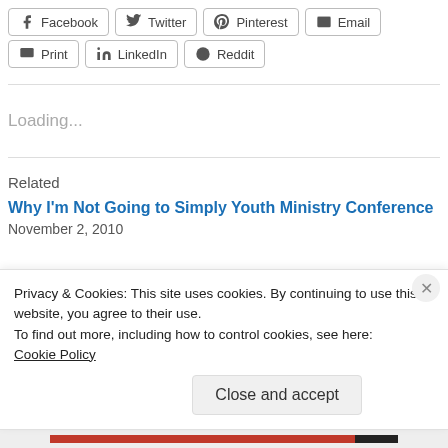Facebook
Twitter
Pinterest
Email
Print
LinkedIn
Reddit
Loading...
Related
Why I'm Not Going to Simply Youth Ministry Conference
November 2, 2010
Privacy & Cookies: This site uses cookies. By continuing to use this website, you agree to their use.
To find out more, including how to control cookies, see here:
Cookie Policy
Close and accept